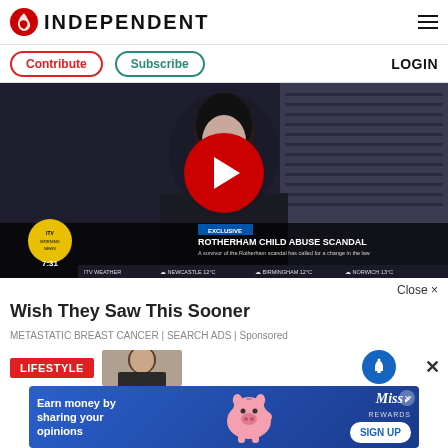[Figure (logo): The Independent newspaper logo with red circular icon and bold INDEPENDENT text]
[Figure (screenshot): Video thumbnail showing a woman with dark hair, red play button overlay, lower-third showing EXCLUSIVE - ROTHERHAM CHILD ABUSE SCANDAL with weather ticker]
Close ×
Wish They Saw This Sooner
METASTATIC BREAST CANCER | SEARCH ADS | Sponsored
[Figure (infographic): LIFESTYLE section badge with person photo and notification bell icon]
[Figure (infographic): Bottom advertisement banner: Earn money by sharing your opinions - Miss Rewards - SIGN UP]